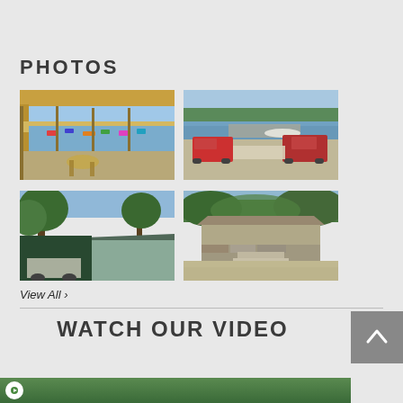PHOTOS
[Figure (photo): View from covered deck/porch overlooking a marina with boats and water]
[Figure (photo): Two pickup trucks on a boat ramp launching boats into a lake]
[Figure (photo): Green-roofed building with large trees in foreground]
[Figure (photo): Stone shelter/pavilion building with trees in background]
View All >
WATCH OUR VIDEO
[Figure (screenshot): Video preview thumbnail showing park scene]